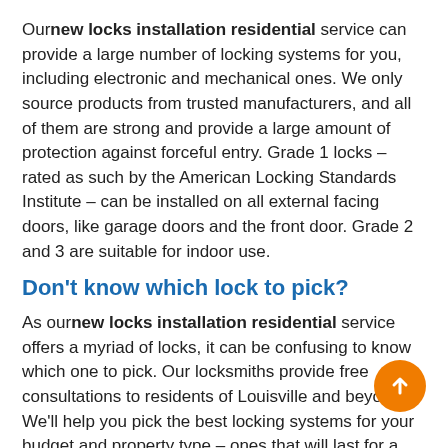Our new locks installation residential service can provide a large number of locking systems for you, including electronic and mechanical ones. We only source products from trusted manufacturers, and all of them are strong and provide a large amount of protection against forceful entry. Grade 1 locks – rated as such by the American Locking Standards Institute – can be installed on all external facing doors, like garage doors and the front door. Grade 2 and 3 are suitable for indoor use.
Don't know which lock to pick?
As our new locks installation residential service offers a myriad of locks, it can be confusing to know which one to pick. Our locksmiths provide free consultations to residents of Louisville and beyond. We'll help you pick the best locking systems for your budget and property type – ones that will last for a long time.
Call us on 303-218-6767 !